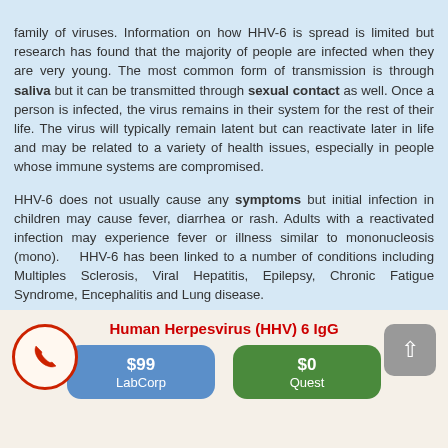family of viruses. Information on how HHV-6 is spread is limited but research has found that the majority of people are infected when they are very young. The most common form of transmission is through saliva but it can be transmitted through sexual contact as well. Once a person is infected, the virus remains in their system for the rest of their life. The virus will typically remain latent but can reactivate later in life and may be related to a variety of health issues, especially in people whose immune systems are compromised.
HHV-6 does not usually cause any symptoms but initial infection in children may cause fever, diarrhea or rash. Adults with a reactivated infection may experience fever or illness similar to mononucleosis (mono). HHV-6 has been linked to a number of conditions including Multiples Sclerosis, Viral Hepatitis, Epilepsy, Chronic Fatigue Syndrome, Encephalitis and Lung disease.
Human Herpesvirus (HHV) 6 IgG
$99 LabCorp | $0 Quest